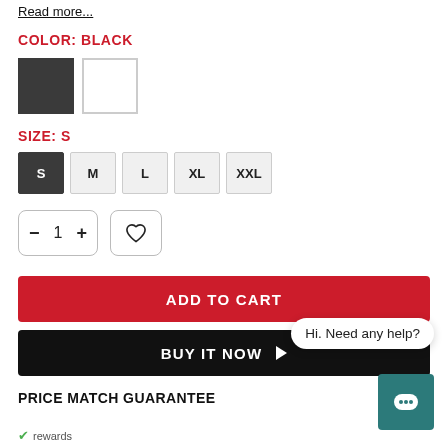Read more...
COLOR: BLACK
[Figure (other): Two color swatches: black (selected) and white]
SIZE: S
[Figure (other): Size selector buttons: S (selected/dark), M, L, XL, XXL]
[Figure (other): Quantity selector (minus, 1, plus) and wishlist heart button]
ADD TO CART
BUY IT NOW
Hi. Need any help?
PRICE MATCH GUARANTEE
rewards